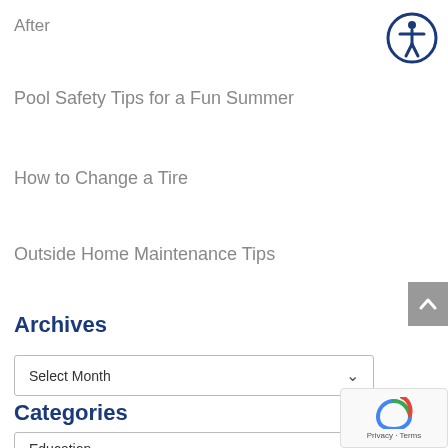After
Pool Safety Tips for a Fun Summer
How to Change a Tire
Outside Home Maintenance Tips
Archives
Select Month
Categories
Education